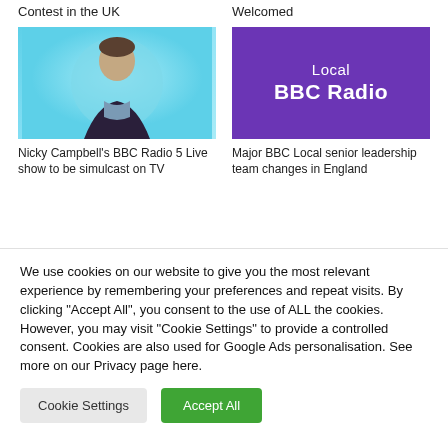Contest in the UK
Welcomed
[Figure (photo): Headshot of Nicky Campbell against a light blue circular background]
[Figure (logo): Purple background with text 'Local BBC Radio' in white]
Nicky Campbell's BBC Radio 5 Live show to be simulcast on TV
Major BBC Local senior leadership team changes in England
We use cookies on our website to give you the most relevant experience by remembering your preferences and repeat visits. By clicking "Accept All", you consent to the use of ALL the cookies. However, you may visit "Cookie Settings" to provide a controlled consent. Cookies are also used for Google Ads personalisation. See more on our Privacy page here.